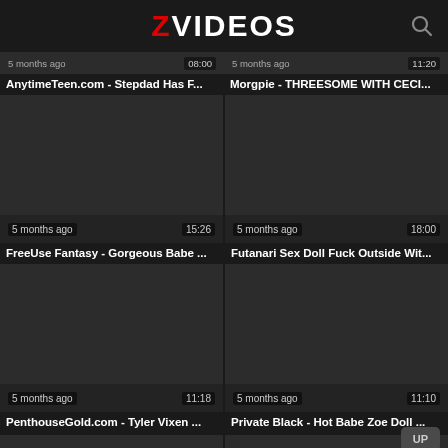ZVIDEOS
AnytimeTeen.com - Stepdad Has F...
Morgpie - THREESOME WITH CECI...
[Figure (screenshot): Video thumbnail dark placeholder, 5 months ago, 15:26]
FreeUse Fantasy - Gorgeous Babe ...
[Figure (screenshot): Video thumbnail dark placeholder, 5 months ago, 18:00]
Futanari Sex Doll Fuck Outside Wit...
[Figure (screenshot): Video thumbnail dark placeholder, 5 months ago, 11:18]
PenthouseGold.com - Tyler Vixen ...
[Figure (screenshot): Video thumbnail dark placeholder, 5 months ago, 11:10]
Private Black - Hot Babe Zoe Doll ...